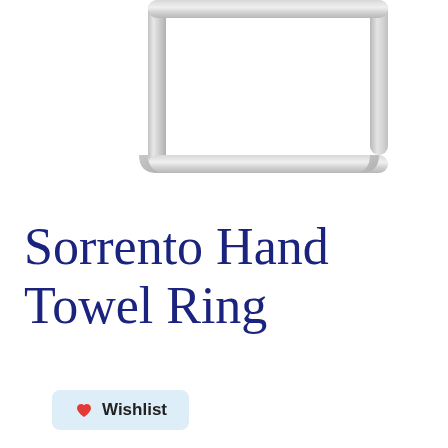[Figure (photo): Partial view of a chrome/silver Sorrento Hand Towel Ring bathroom accessory, showing the rectangular metal ring frame against a white background. Only the upper portion of the ring is visible.]
Sorrento Hand Towel Ring
Wishlist